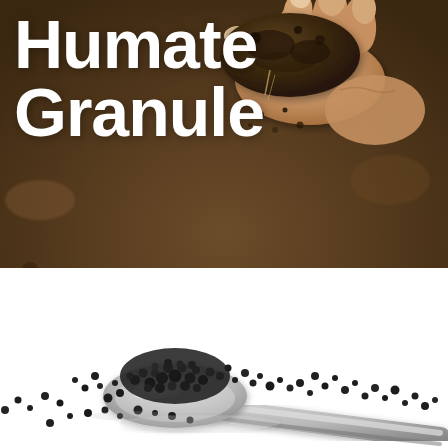[Figure (photo): Close-up photograph of a hand holding dark, rich soil above a brown earth background, showing texture of garden/farm soil]
Humate Granule
[Figure (photo): A spoon or small shovel holding dark black humate granules scattered against a white background, showing the granule product]